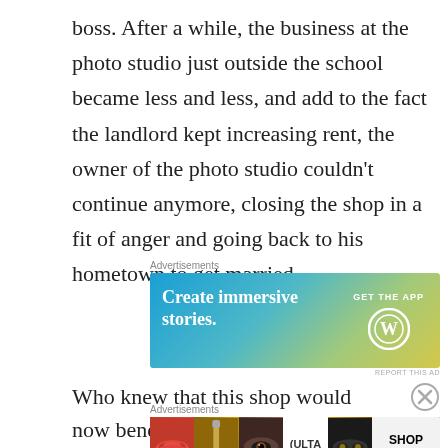boss. After a while, the business at the photo studio just outside the school became less and less, and add to the fact the landlord kept increasing rent, the owner of the photo studio couldn't continue anymore, closing the shop in a fit of anger and going back to his hometown to get married.
[Figure (screenshot): Advertisement banner for WordPress: 'Create immersive stories.' with GET THE APP button and WordPress logo on a blue-green-yellow gradient background.]
Who knew that this shop would now benefit
[Figure (screenshot): Advertisement banner for Ulta Beauty showing makeup images (lips, brush, eye, Ulta logo, eyes) with SHOP NOW button.]